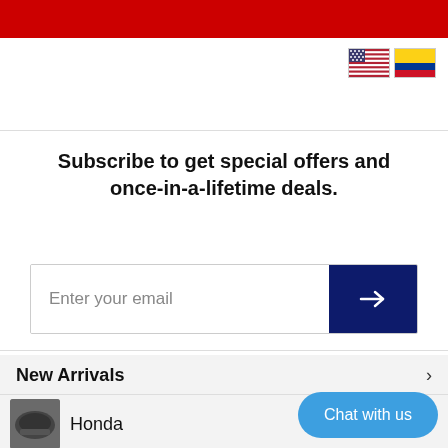[Figure (other): Red website header/navigation banner at the top of the page]
[Figure (other): US flag and Colombian flag icon buttons for language selection]
Subscribe to get special offers and once-in-a-lifetime deals.
Enter your email
New Arrivals
Honda
Acura
Toyota
Chat with us